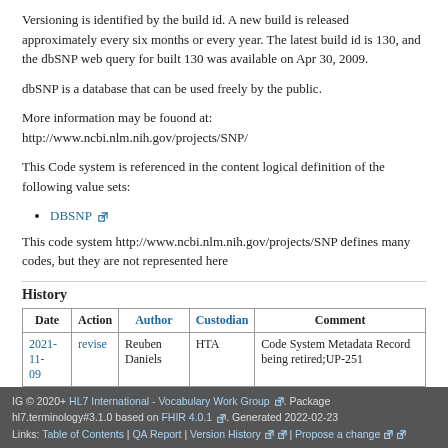Versioning is identified by the build id. A new build is released approximately every six months or every year. The latest build id is 130, and the dbSNP web query for built 130 was available on Apr 30, 2009.
dbSNP is a database that can be used freely by the public.
More information may be fouond at: http://www.ncbi.nlm.nih.gov/projects/SNP/
This Code system is referenced in the content logical definition of the following value sets:
DBSNP
This code system http://www.ncbi.nlm.nih.gov/projects/SNP defines many codes, but they are not represented here
History
| Date | Action | Author | Custodian | Comment |
| --- | --- | --- | --- | --- |
| 2021-11-09 | revise | Reuben Daniels | HTA | Code System Metadata Record being retired;UP-251 |
IG © 2020+ HL7 International - Vocabulary Work Group. Package hl7.terminology#3.1.0 based on FHIR 4.0.1. Generated 2022-02-23 Links: Table of Contents | QA Report | Version History | Propose a change